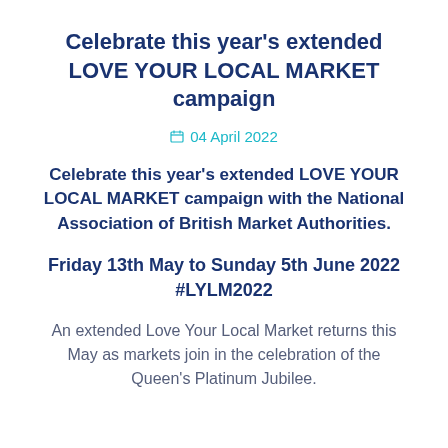Celebrate this year's extended LOVE YOUR LOCAL MARKET campaign
04 April 2022
Celebrate this year's extended LOVE YOUR LOCAL MARKET campaign with the National Association of British Market Authorities.
Friday 13th May to Sunday 5th June 2022 #LYLM2022
An extended Love Your Local Market returns this May as markets join in the celebration of the Queen's Platinum Jubilee.